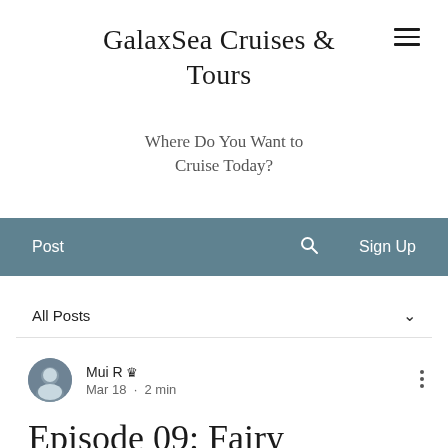GalaxSea Cruises & Tours
Where Do You Want to Cruise Today?
Post  🔍  Sign Up
All Posts
Mui R 👑
Mar 18  ·  2 min
Episode 09: Fairy Godmothers